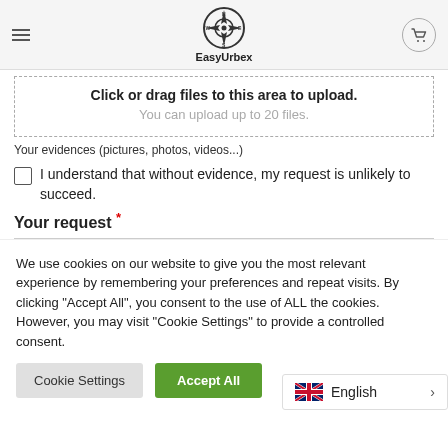EasyUrbex
Click or drag files to this area to upload. You can upload up to 20 files.
Your evidences (pictures, photos, videos...)
I understand that without evidence, my request is unlikely to succeed.
Your request *
We use cookies on our website to give you the most relevant experience by remembering your preferences and repeat visits. By clicking “Accept All”, you consent to the use of ALL the cookies. However, you may visit "Cookie Settings" to provide a controlled consent.
Cookie Settings | Accept All
English